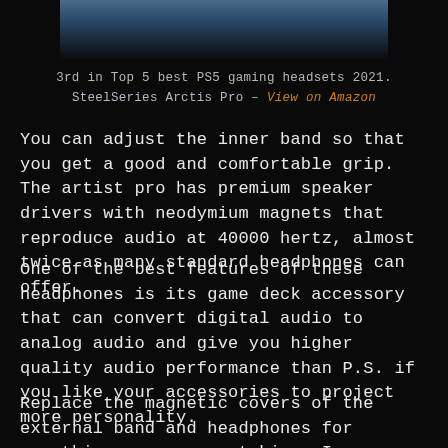[Figure (photo): Partial photo of a SteelSeries Arctis Pro gaming headset on dark background, cropped at top]
3rd in Top 5 best PS5 gaming headsets 2021. SteelSeries Arctis Pro – View on Amazon
You can adjust the inner band so that you get a good and comfortable grip. The artist pro has premium speaker drivers with neodymium magnets that reproduce audio at 40000 hertz, almost twice as many standard headphones can offer.
One of the best features of these headphones is its game deck accessory that can convert digital audio to analog audio and give you higher quality audio performance than P.S. if you like your accessories to project more personality.
Replace the magnetic covers of the external band and headphones for something more eye catching. In addition,